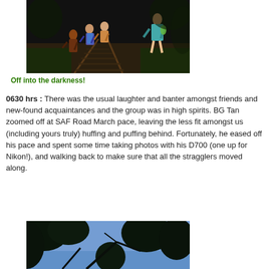[Figure (photo): Night photo of a group of people walking along railway tracks into darkness]
Off into the darkness!
0630 hrs : There was the usual laughter and banter amongst friends and new-found acquaintances and the group was in high spirits. BG Tan zoomed off at SAF Road March pace, leaving the less fit amongst us (including yours truly) huffing and puffing behind. Fortunately, he eased off his pace and spent some time taking photos with his D700 (one up for Nikon!), and walking back to make sure that all the stragglers moved along.
[Figure (photo): Looking up through tree canopy at a blue sky, silhouetted trees visible]